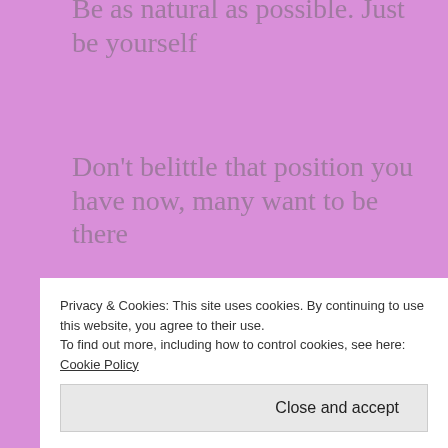Be as natural as possible. Just be yourself
Don't belittle that position you have now, many want to be there
Appreciate God and His works
Enjoy every moment of your life
Sleep like a baby
Privacy & Cookies: This site uses cookies. By continuing to use this website, you agree to their use.
To find out more, including how to control cookies, see here: Cookie Policy
Close and accept